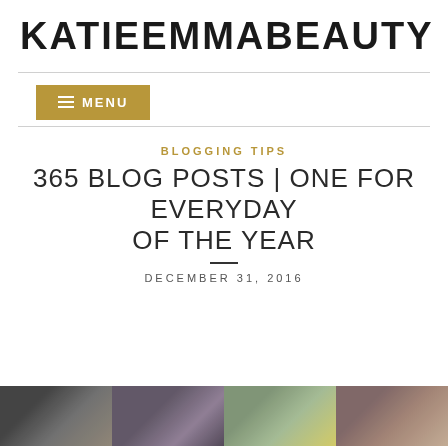KATIEEMMABEAUTY
MENU
BLOGGING TIPS
365 BLOG POSTS | ONE FOR EVERYDAY OF THE YEAR
DECEMBER 31, 2016
[Figure (photo): Strip of four thumbnail photos showing beauty products including makeup and accessories]